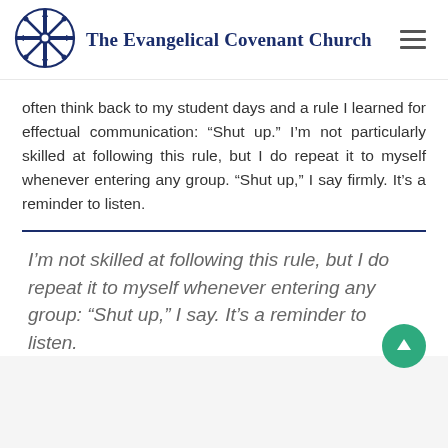The Evangelical Covenant Church
often think back to my student days and a rule I learned for effectual communication: “Shut up.” I’m not particularly skilled at following this rule, but I do repeat it to myself whenever entering any group. “Shut up,” I say firmly. It’s a reminder to listen.
I’m not skilled at following this rule, but I do repeat it to myself whenever entering any group: “Shut up,” I say. It’s a reminder to listen.